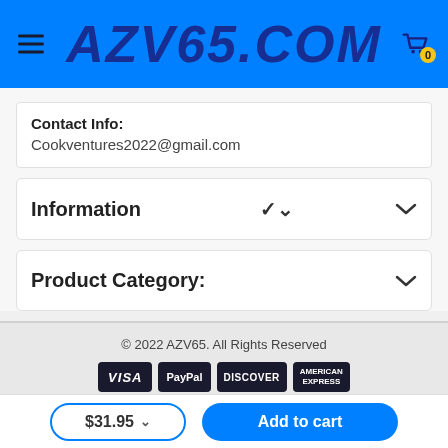AZV65.COM
Contact Info:
Cookventures2022@gmail.com
Information
Product Category:
© 2022 AZV65. All Rights Reserved
[Figure (logo): Payment method icons: VISA, PayPal, Discover, American Express]
$31.95
Add to cart